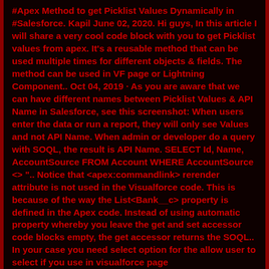#Apex Method to get Picklist Values Dynamically in #Salesforce. Kapil June 02, 2020. Hi guys, In this article I will share a very cool code block with you to get Picklist values from apex. It's a reusable method that can be used multiple times for different objects & fields. The method can be used in VF page or Lightning Component.. Oct 04, 2019 · As you are aware that we can have different names between Picklist Values & API Name in Salesforce, see this screenshot: When users enter the data or run a report, they will only see Values and not API Name. When admin or developer do a query with SOQL, the result is API Name. SELECT Id, Name, AccountSource FROM Account WHERE AccountSource <> ".. Notice that <apex:commandlink> rerender attribute is not used in the Visualforce code. This is because of the way the List<Bank__c> property is defined in the Apex code. Instead of using automatic property whereby you leave the get and set accessor code blocks empty, the get accessor returns the SOQL.. In your case you need select option for the allow user to select if you use in visualforce page